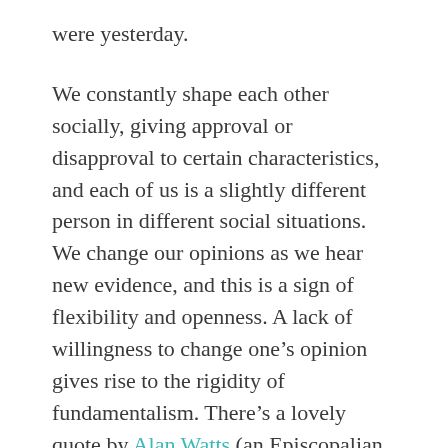were yesterday.
We constantly shape each other socially, giving approval or disapproval to certain characteristics, and each of us is a slightly different person in different social situations. We change our opinions as we hear new evidence, and this is a sign of flexibility and openness. A lack of willingness to change one’s opinion gives rise to the rigidity of fundamentalism. There’s a lovely quote by Alan Watts (an Episcopalian priest who became a Zen Buddhist in the 1960s) that explains the difference between the openness and trust of faith and the rigidity of belief: